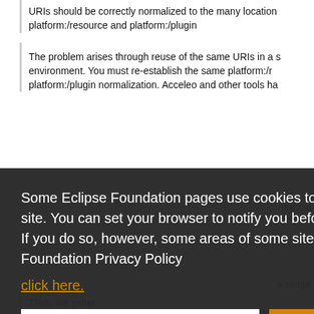URIs should be correctly normalized to the many location platform:/resource and platform:/plugin
The problem arises through reuse of the same URIs in a s environment. You must re-establish the same platform:/r platform:/plugin normalization. Acceleo and other tools ha that ma der, par
Some Eclipse Foundation pages use cookies to better serve you when you return to the site. You can set your browser to notify you before you receive a cookie or turn off cookies. If you do so, however, some areas of some sites may not function properly. To read Eclipse Foundation Privacy Policy click here.
Decline
Allow cookies
Thus, we either :